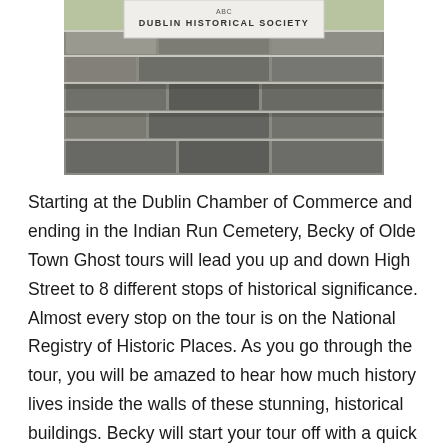[Figure (photo): Photo of a stone pillar/wall with a white sign at the top reading 'DUBLIN HISTORICAL SOCIETY'. The structure is made of large stacked grey stones.]
Starting at the Dublin Chamber of Commerce and ending in the Indian Run Cemetery, Becky of Olde Town Ghost tours will lead you up and down High Street to 8 different stops of historical significance. Almost every stop on the tour is on the National Registry of Historic Places. As you go through the tour, you will be amazed to hear how much history lives inside the walls of these stunning, historical buildings. Becky will start your tour off with a quick overview of